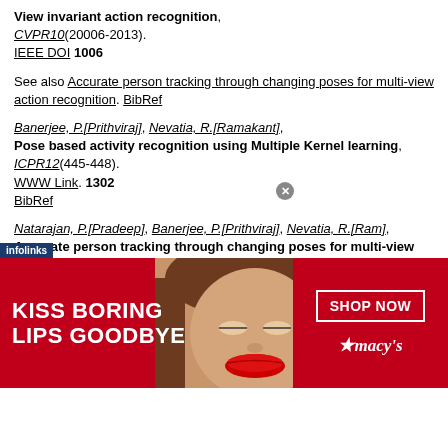View invariant action recognition, CVPR10(20006-2013). IEEE DOI 1006
See also Accurate person tracking through changing poses for multi-view action recognition. BibRef
Banerjee, P.[Prithviraj], Nevatia, R.[Ramakant], Pose based activity recognition using Multiple Kernel learning, ICPR12(445-448). WWW Link. 1302 BibRef
Natarajan, P.[Pradeep], Banerjee, P.[Prithviraj], Nevatia, R.[Ram], Accurate person tracking through changing poses for multi-view action recognition, ICCVGIP10(155-161).
[Figure (photo): Advertisement banner: Macy's lipstick ad with text KISS BORING LIPS GOODBYE and SHOP NOW button]